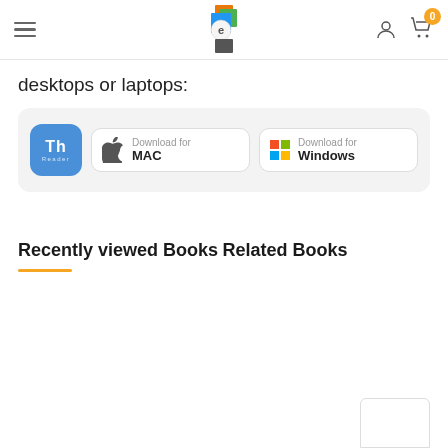Navigation header with hamburger menu, logo, user icon, and cart with badge 0
desktops or laptops:
[Figure (screenshot): Download options row: Th Reader icon, Download for MAC button with Apple logo, Download for Windows button with Windows logo]
Recently viewed Books
Related Books